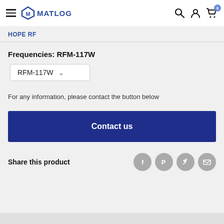MATLOG
HOPE RF
Frequencies:  RFM-117W
RFM-117W
For any information, please contact the button below
Contact us
Share this product